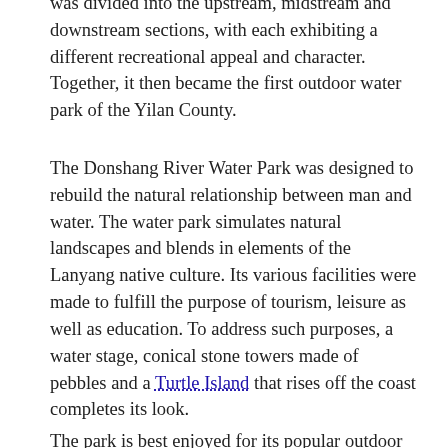was divided into the upstream, midstream and downstream sections, with each exhibiting a different recreational appeal and character. Together, it then became the first outdoor water park of the Yilan County.
The Donshang River Water Park was designed to rebuild the natural relationship between man and water. The water park simulates natural landscapes and blends in elements of the Lanyang native culture. Its various facilities were made to fulfill the purpose of tourism, leisure as well as education. To address such purposes, a water stage, conical stone towers made of pebbles and a Turtle Island that rises off the coast completes its look.
The park is best enjoyed for its popular outdoor